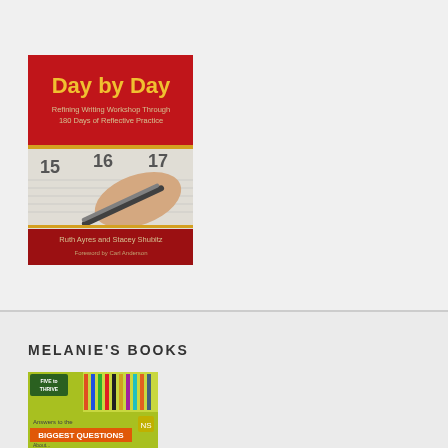[Figure (photo): Book cover of 'Day by Day: Refining Writing Workshop Through 180 Days of Reflective Practice' by Ruth Ayres and Stacey Shubitz, Foreword by Carl Anderson. Red top with yellow title text, bottom shows a hand writing in a calendar/planner.]
MELANIE'S BOOKS
[Figure (photo): Book cover with green/yellow background, 'Five to Thrive' label, pens/pencils, text 'Answers to the Biggest Questions About...' visible at bottom.]